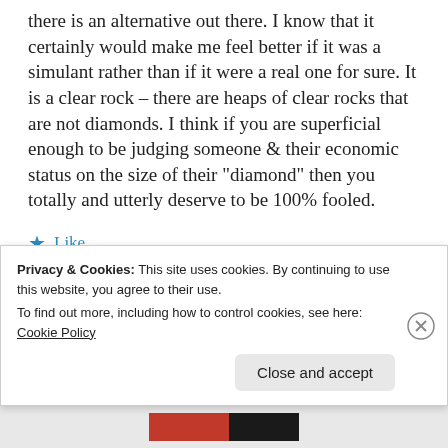there is an alternative out there. I know that it certainly would make me feel better if it was a simulant rather than if it were a real one for sure. It is a clear rock – there are heaps of clear rocks that are not diamonds. I think if you are superficial enough to be judging someone & their economic status on the size of their "diamond" then you totally and utterly deserve to be 100% fooled.
★ Like
Reply
Privacy & Cookies: This site uses cookies. By continuing to use this website, you agree to their use.
To find out more, including how to control cookies, see here: Cookie Policy